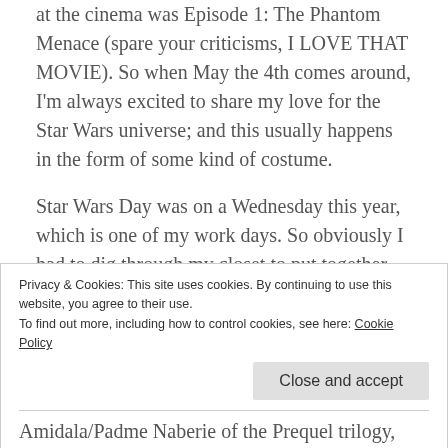at the cinema was Episode 1: The Phantom Menace (spare your criticisms, I LOVE THAT MOVIE). So when May the 4th comes around, I'm always excited to share my love for the Star Wars universe; and this usually happens in the form of some kind of costume.
Star Wars Day was on a Wednesday this year, which is one of my work days. So obviously I had to dig through my closet to put together something really awesome. That being said, picking a character to portray is always a difficult task, when it comes to cosplay. I am the worst at making those kinds of decisions, and I am always
Privacy & Cookies: This site uses cookies. By continuing to use this website, you agree to their use. To find out more, including how to control cookies, see here: Cookie Policy
Close and accept
Amidala/Padme Naberie of the Prequel trilogy, and of